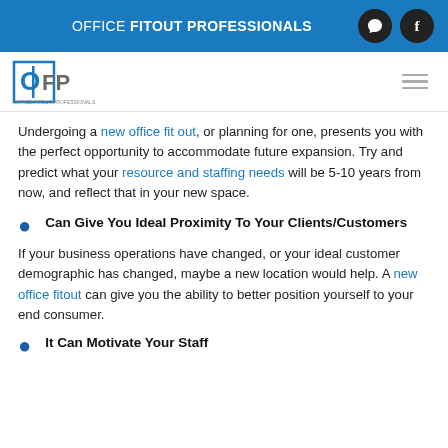OFFICE FITOUT PROFESSIONALS
[Figure (logo): OFP Office Fitout Professionals logo]
Undergoing a new office fit out, or planning for one, presents you with the perfect opportunity to accommodate future expansion. Try and predict what your resource and staffing needs will be 5-10 years from now, and reflect that in your new space.
Can Give You Ideal Proximity To Your Clients/Customers
If your business operations have changed, or your ideal customer demographic has changed, maybe a new location would help. A new office fitout can give you the ability to better position yourself to your end consumer.
It Can Motivate Your Staff